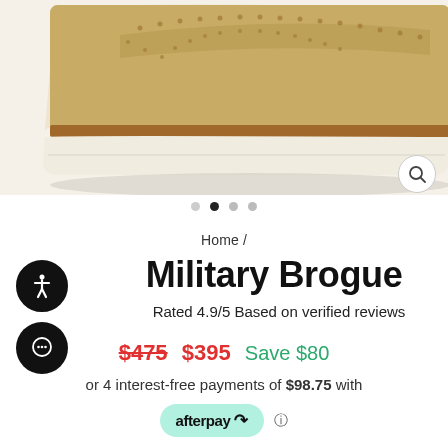[Figure (photo): Close-up of tan/khaki suede military brogue shoes with white sole and brown welt, shown from above on white background]
Home /
Military Brogue
Rated 4.9/5 Based on verified reviews
$475  $395  Save $80
or 4 interest-free payments of $98.75 with
afterpay